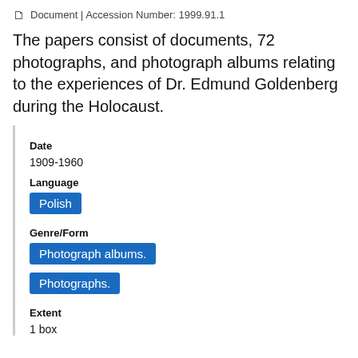Document | Accession Number: 1999.91.1
The papers consist of documents, 72 photographs, and photograph albums relating to the experiences of Dr. Edmund Goldenberg during the Holocaust.
Date
1909-1960
Language
Polish
Genre/Form
Photograph albums.
Photographs.
Extent
1 box